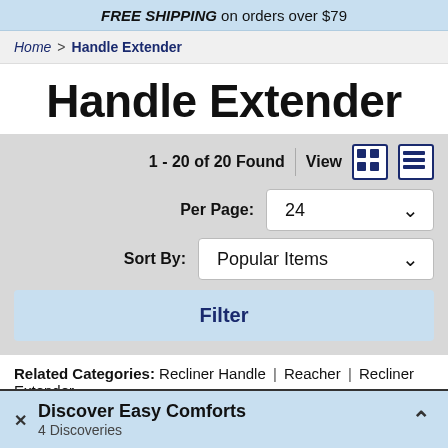FREE SHIPPING on orders over $79
Home > Handle Extender
Handle Extender
1 - 20 of 20 Found  View  [grid] [list]
Per Page: 24
Sort By: Popular Items
Filter
Related Categories: Recliner Handle | Reacher | Recliner Extender
Discover Easy Comforts
4 Discoveries